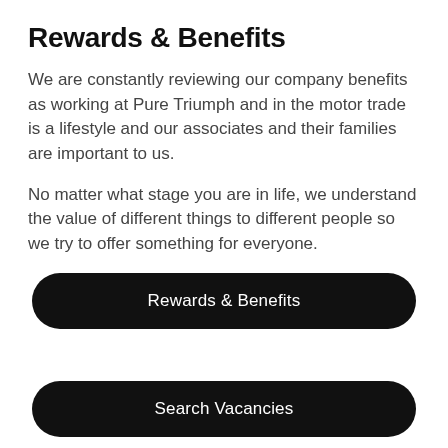Rewards & Benefits
We are constantly reviewing our company benefits as working at Pure Triumph and in the motor trade is a lifestyle and our associates and their families are important to us.
No matter what stage you are in life, we understand the value of different things to different people so we try to offer something for everyone.
Rewards & Benefits
Search Vacancies
Learning & Development